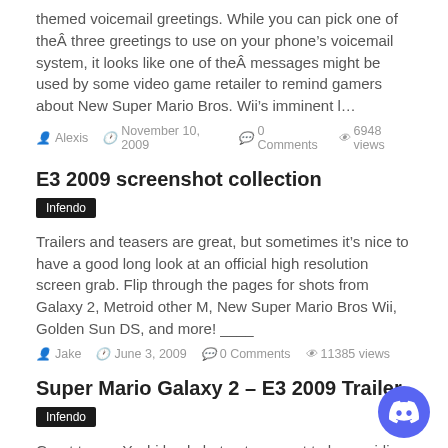themed voicemail greetings. While you can pick one of theÂ three greetings to use on your phone’s voicemail system, it looks like one of theÂ messages might be used by some video game retailer to remind gamers about New Super Mario Bros. Wii’s imminent l…
Alexis  November 10, 2009  0 Comments  6948 views
E3 2009 screenshot collection
Infendo
Trailers and teasers are great, but sometimes it’s nice to have a good long look at an official high resolution screen grab. Flip through the pages for shots from Galaxy 2, Metroid other M, New Super Mario Bros Wii, Golden Sun DS, and more! ____
Jake  June 3, 2009  0 Comments  11385 views
Super Mario Galaxy 2 – E3 2009 Trailer
Infendo
Great to see Yoshi back, but not so great to hear midi music return.
Jake  June 2, 2009  0 Comments  5602 views